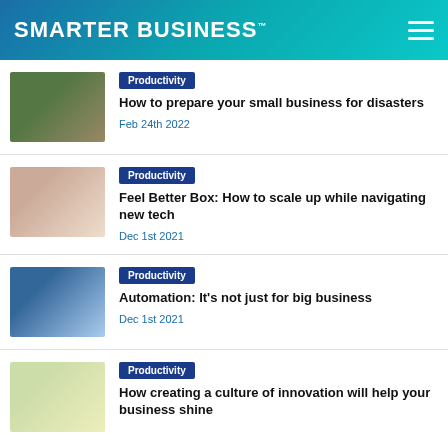SMARTER BUSINESS™
Productivity | How to prepare your small business for disasters | Feb 24th 2022
Productivity | Feel Better Box: How to scale up while navigating new tech | Dec 1st 2021
Productivity | Automation: It's not just for big business | Dec 1st 2021
Productivity | How creating a culture of innovation will help your business shine